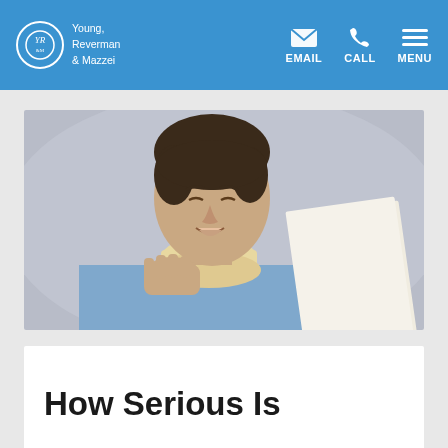Young, Reverman & Mazzei — EMAIL CALL MENU
[Figure (photo): Man wearing a neck brace, grimacing in pain while holding papers, dressed in a light blue shirt, against a grey background]
How Serious Is